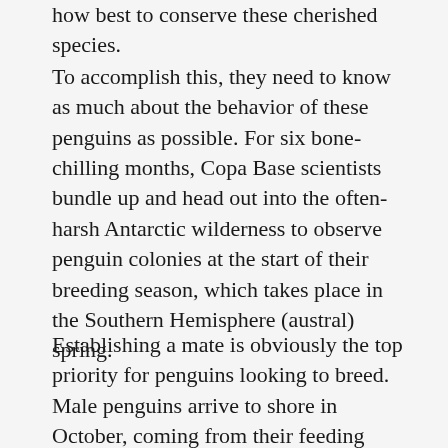how best to conserve these cherished species.
To accomplish this, they need to know as much about the behavior of these penguins as possible. For six bone-chilling months, Copa Base scientists bundle up and head out into the often-harsh Antarctic wilderness to observe penguin colonies at the start of their breeding season, which takes place in the Southern Hemisphere (austral) spring.
Establishing a mate is obviously the top priority for penguins looking to breed. Male penguins arrive to shore in October, coming from their feeding grounds out at sea, and form sizable penguin colonies. Males arrive before females, building nests in order to attract mates. They build